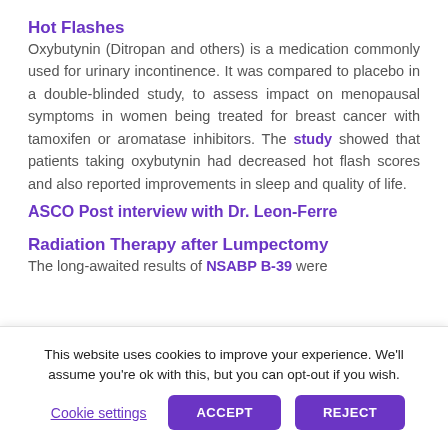Hot Flashes
Oxybutynin (Ditropan and others) is a medication commonly used for urinary incontinence. It was compared to placebo in a double-blinded study, to assess impact on menopausal symptoms in women being treated for breast cancer with tamoxifen or aromatase inhibitors. The study showed that patients taking oxybutynin had decreased hot flash scores and also reported improvements in sleep and quality of life.
ASCO Post interview with Dr. Leon-Ferre
Radiation Therapy after Lumpectomy
The long-awaited results of NSABP B-39 were
This website uses cookies to improve your experience. We'll assume you're ok with this, but you can opt-out if you wish.
Cookie settings  ACCEPT  REJECT